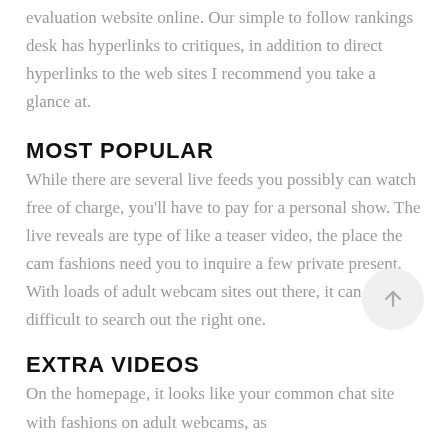evaluation website online. Our simple to follow rankings desk has hyperlinks to critiques, in addition to direct hyperlinks to the web sites I recommend you take a glance at.
MOST POPULAR
While there are several live feeds you possibly can watch free of charge, you'll have to pay for a personal show. The live reveals are type of like a teaser video, the place the cam fashions need you to inquire a few private present. With loads of adult webcam sites out there, it can be difficult to search out the right one.
EXTRA VIDEOS
On the homepage, it looks like your common chat site with fashions on adult webcams, as